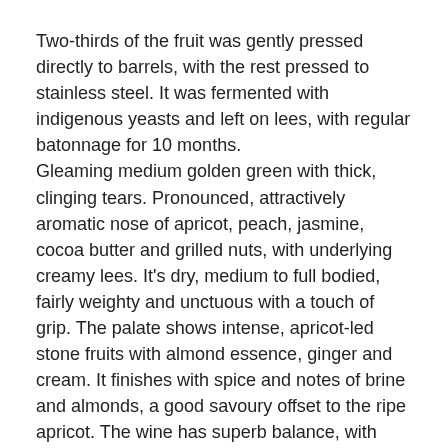Two-thirds of the fruit was gently pressed directly to barrels, with the rest pressed to stainless steel. It was fermented with indigenous yeasts and left on lees, with regular batonnage for 10 months. Gleaming medium golden green with thick, clinging tears. Pronounced, attractively aromatic nose of apricot, peach, jasmine, cocoa butter and grilled nuts, with underlying creamy lees. It's dry, medium to full bodied, fairly weighty and unctuous with a touch of grip. The palate shows intense, apricot-led stone fruits with almond essence, ginger and cream. It finishes with spice and notes of brine and almonds, a good savoury offset to the ripe apricot. The wine has superb balance, with striking freshness and a beautifully toned palate.
Costs $16.70 on special at Dan Murphy's – Alcohol 14% – Tasted 04/01/14